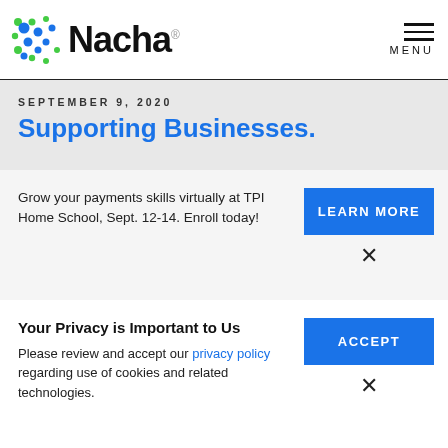Nacha [logo] MENU
SEPTEMBER 9, 2020
Supporting Businesses.
Grow your payments skills virtually at TPI Home School, Sept. 12-14. Enroll today!
LEARN MORE
Your Privacy is Important to Us
Please review and accept our privacy policy regarding use of cookies and related technologies.
ACCEPT